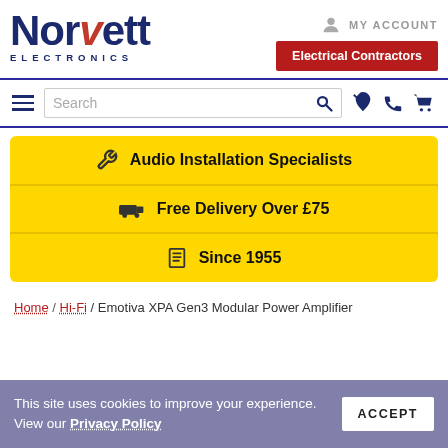[Figure (logo): Norvett Electronics logo — large blue bold text 'NORVETT' with red accent, 'ELECTRONICS' in spaced blue letters below]
MY ACCOUNT
Electrical Contractors
Search
🔧 Audio Installation Specialists
🚚 Free Delivery Over £75
📋 Since 1955
Home / Hi-Fi / Emotiva XPA Gen3 Modular Power Amplifier
This site uses cookies to improve your experience. View our Privacy Policy
ACCEPT